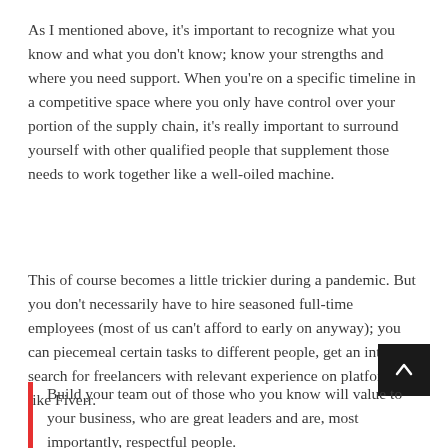As I mentioned above, it's important to recognize what you know and what you don't know; know your strengths and where you need support. When you're on a specific timeline in a competitive space where you only have control over your portion of the supply chain, it's really important to surround yourself with other qualified people that supplement those needs to work together like a well-oiled machine.
This of course becomes a little trickier during a pandemic. But you don't necessarily have to hire seasoned full-time employees (most of us can't afford to early on anyway); you can piecemeal certain tasks to different people, get an intern or search for freelancers with relevant experience on platforms like Fiverr.
Build your team out of those who you know will value to your business, who are great leaders and are, most importantly, respectful people.